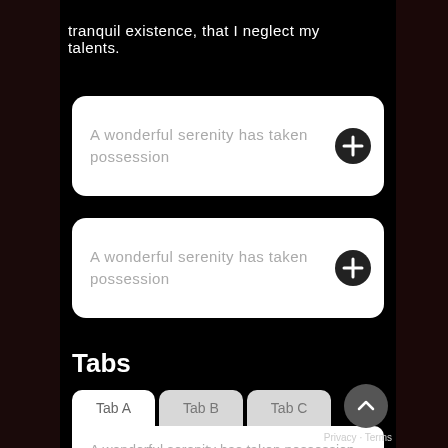tranquil existence, that I neglect my talents.
[Figure (screenshot): Input field with placeholder text 'A wonderful serenity has taken possession' and a plus icon button on the right]
[Figure (screenshot): Second input field with placeholder text 'A wonderful serenity has taken possession' and a plus icon button on the right]
Tabs
[Figure (screenshot): Tab UI with three tabs: Tab A (active), Tab B, Tab C, and tab content showing 'A wonderful serenity has taken possession of my entire soul, like these sweet mornings']